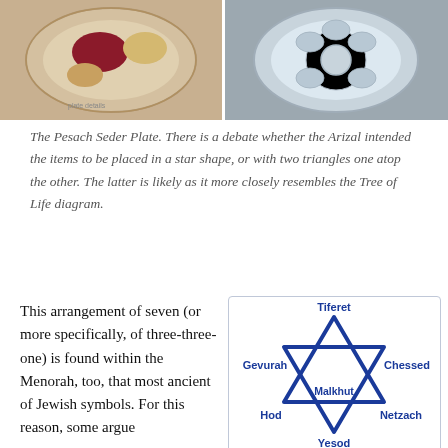[Figure (photo): Two photos of Pesach Seder Plates side by side - left shows a plate with food items including what appears to be beets/pomegranate and grains, right shows an ornate silver seder plate from above]
The Pesach Seder Plate. There is a debate whether the Arizal intended the items to be placed in a star shape, or with two triangles one atop the other. The latter is likely as it more closely resembles the Tree of Life diagram.
This arrangement of seven (or more specifically, of three-three-one) is found within the Menorah, too, that most ancient of Jewish symbols. For this reason, some argue
[Figure (illustration): Star of David (Magen David) diagram with six points labeled with Kabbalistic sefirot: Tiferet at top, Gevurah at left, Chessed at right, Hod at lower left, Netzach at lower right, and Yesod at bottom. Malkhut is labeled in the center. The star is drawn in dark blue outline.]